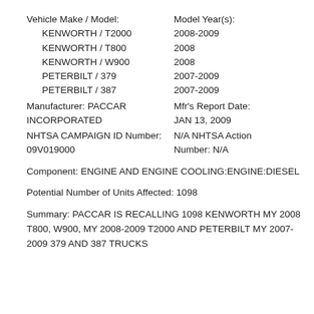Vehicle Make / Model:
Model Year(s):
KENWORTH / T2000   2008-2009
KENWORTH / T800   2008
KENWORTH / W900   2008
PETERBILT / 379   2007-2009
PETERBILT / 387   2007-2009
Manufacturer: PACCAR INCORPORATED
Mfr's Report Date: JAN 13, 2009
NHTSA CAMPAIGN ID Number: 09V019000
N/A NHTSA Action Number: N/A
Component: ENGINE AND ENGINE COOLING:ENGINE:DIESEL
Potential Number of Units Affected: 1098
Summary: PACCAR IS RECALLING 1098 KENWORTH MY 2008 T800, W900, MY 2008-2009 T2000 AND PETERBILT MY 2007-2009 379 AND 387 TRUCKS